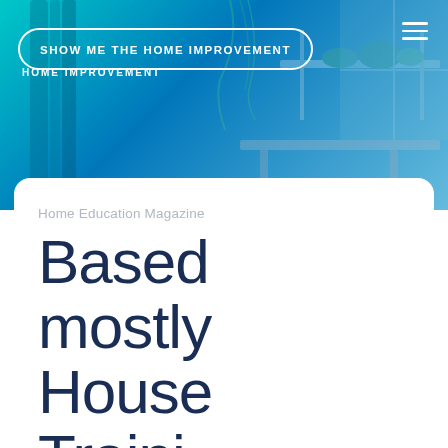SHOW ME THE HOME IMPROVEMENT
HOME IMPROVEMENT
[Figure (photo): Blue-tinted interior room photo with plants on shelves, used as hero background]
Home Education Magazine
Based mostly House Traini…